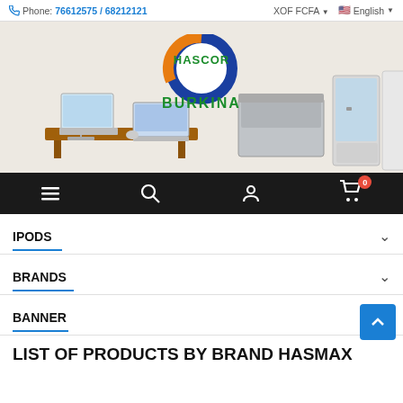Phone: 76612575 / 68212121   XOF FCFA   English
[Figure (screenshot): Hascor Burkina e-commerce website banner with logo showing orange and blue circular design with 'HASCOR' in green text and 'BURKINA' in green text below. Background shows electronics products including desktop computers, laptops, freezers, and refrigerators on a light beige background.]
[Figure (screenshot): Black navigation bar with hamburger menu icon, search icon, user account icon, and shopping cart icon with red badge showing '0'.]
IPODS
BRANDS
BANNER
LIST OF PRODUCTS BY BRAND HASMAX